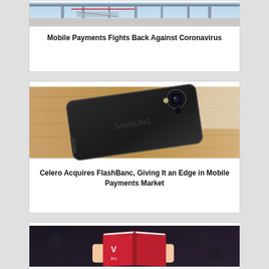[Figure (photo): Partial view of an airport or transit area, blurred background with equipment]
Mobile Payments Fights Back Against Coronavirus
[Figure (photo): Samsung smartphone lying face-down on a wooden table, showing the back camera]
Celero Acquires FlashBanc, Giving It an Edge in Mobile Payments Market
[Figure (photo): Person holding open a red book with a logo visible]